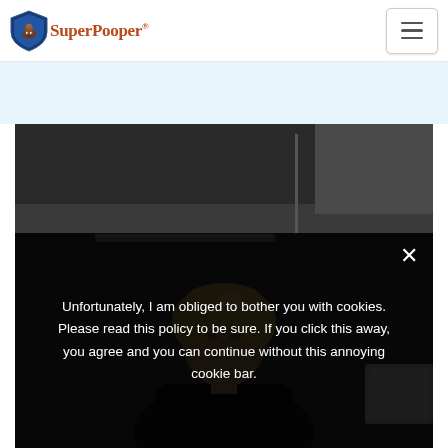[Figure (logo): SuperPooper logo with blue shield icon and brown/red text reading 'SuperPooper®']
[Figure (other): Hamburger menu button (three horizontal lines) in top right corner]
[Figure (photo): A woman with short blonde hair photographed in a dark interior setting]
Unfortunately, I am obliged to bother you with cookies. Please read this policy to be sure. If you click this away, you agree and you can continue without this annoying cookie bar.